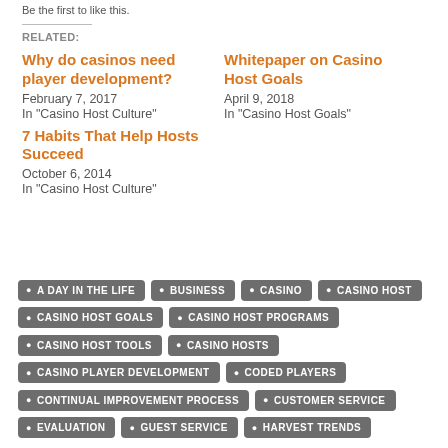Be the first to like this.
RELATED:
Why do casinos need player development?
February 7, 2017
In "Casino Host Culture"
Whitepaper on Casino Host Goals
April 9, 2018
In "Casino Host Goals"
7 Habits That Help Hosts Succeed
October 6, 2014
In "Casino Host Culture"
A DAY IN THE LIFE
BUSINESS
CASINO
CASINO HOST
CASINO HOST GOALS
CASINO HOST PROGRAMS
CASINO HOST TOOLS
CASINO HOSTS
CASINO PLAYER DEVELOPMENT
CODED PLAYERS
CONTINUAL IMPROVEMENT PROCESS
CUSTOMER SERVICE
EVALUATION
GUEST SERVICE
HARVEST TRENDS